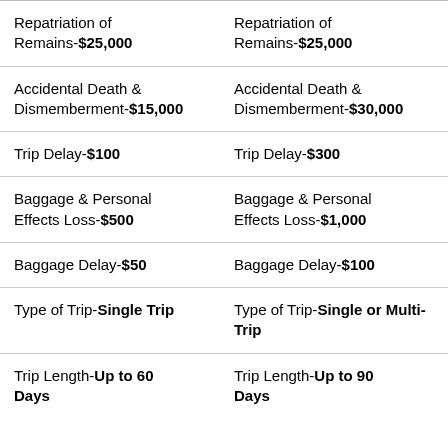| Repatriation of Remains-$25,000 | Repatriation of Remains-$25,000 | Repatriation of Remains- |
| Accidental Death & Dismemberment-$15,000 | Accidental Death & Dismemberment-$30,000 | Accidental Death & Dismemberment- |
| Trip Delay-$100 | Trip Delay-$300 | Trip Delay- |
| Baggage & Personal Effects Loss-$500 | Baggage & Personal Effects Loss-$1,000 | Baggage & Personal Effects Lo- |
| Baggage Delay-$50 | Baggage Delay-$100 | Baggage- |
| Type of Trip-Single Trip | Type of Trip-Single or Multi-Trip | Type of T- Multi-Tri- |
| Trip Length-Up to 60 Days | Trip Length-Up to 90 Days | Trip Leng- Days |